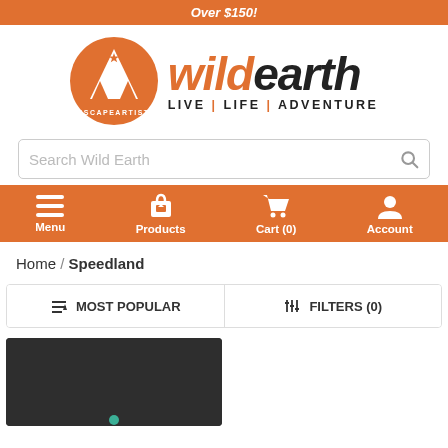Over $150!
[Figure (logo): Wild Earth logo: orange circle with tent/trees and #ESCAPEARTISTS text, with 'wildearth LIVE | LIFE | ADVENTURE' wordmark]
Search Wild Earth
Menu | Products | Cart (0) | Account
Home / Speedland
↑↓ MOST POPULAR | ||| FILTERS (0)
[Figure (photo): Product image on dark background]